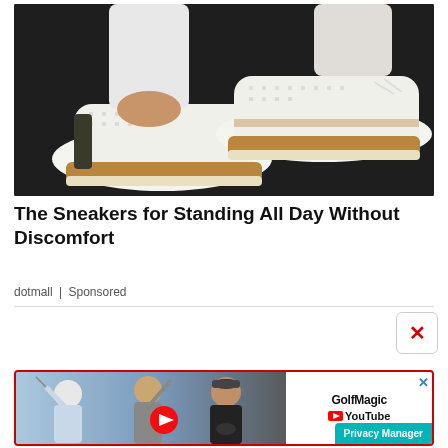[Figure (photo): Close-up photo of feet wearing white perforated sneakers with tan/gold espadrille soles on dark pavement. White jeans visible at ankles.]
The Sneakers for Standing All Day Without Discomfort
dotmall | Sponsored
[Figure (screenshot): GolfMagic YouTube advertisement banner featuring golfers (Jon Rahm, Dustin Johnson, Rory McIlroy) with a YouTube play button and GolfMagic YouTube branding on white background.]
Privacy Manager